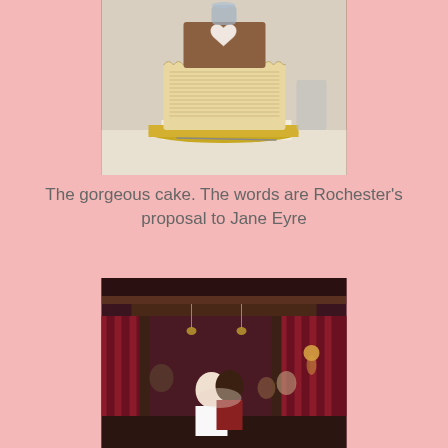[Figure (photo): A tiered wedding cake with white frosting decorated with written text around the sides and a heart on top, placed on a gold board on a white surface with tools nearby.]
The gorgeous cake. The words are Rochester's proposal to Jane Eyre
[Figure (photo): Interior of a dimly lit venue with red curtains and warm lighting. Two people, appearing to be a couple, are embracing or close together at a table, with other guests visible in the background.]